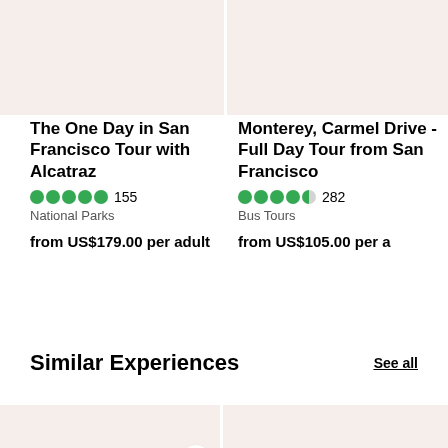[Figure (photo): Top half image placeholder for 'The One Day in San Francisco Tour with Alcatraz' listing card, light beige background]
[Figure (photo): Top half image placeholder for 'Monterey, Carmel Drive - Full Day Tour from San Francisco' listing card, light beige background]
The One Day in San Francisco Tour with Alcatraz
★★★★★ 155
National Parks
from US$179.00 per adult
Monterey, Carmel Drive - Full Day Tour from San Francisco
★★★★½ 282
Bus Tours
from US$105.00 per adult
Similar Experiences
See all
[Figure (photo): Bottom card image placeholder left, light beige, with heart/save button]
[Figure (photo): Bottom card image placeholder right, light beige]